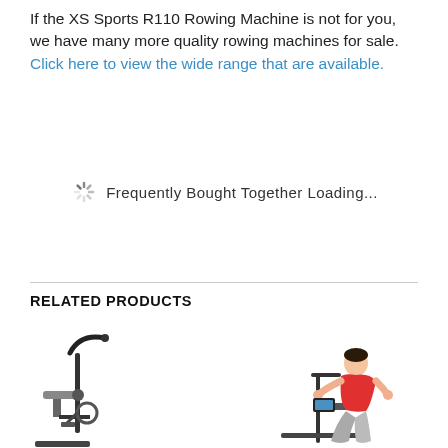If the XS Sports R110 Rowing Machine is not for you, we have many more quality rowing machines for sale. Click here to view the wide range that are available.
Frequently Bought Together Loading...
RELATED PRODUCTS
[Figure (photo): Exercise bike product image (stationary bike with handles, left side)]
[Figure (photo): Woman on exercise bike product image (woman in red top on stationary bike, right side)]